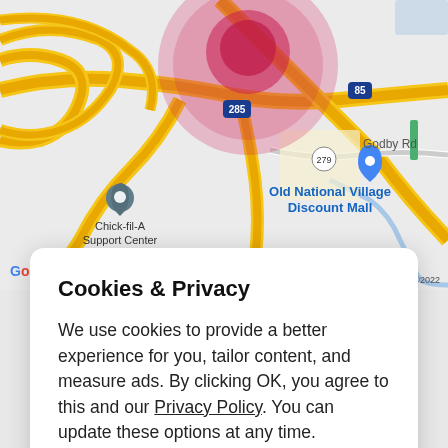[Figure (map): Google Maps screenshot showing Old National Village Discount Mall area near Interstate 285 and 85 interchange in Atlanta, Georgia. Shows Chick-fil-A Support Center marker, road network with yellow highways, a large red/pink circle overlay centered near I-285, route 279 label, Godby Rd label, and Google logo with Map data ©2022 attribution.]
Cookies & Privacy
We use cookies to provide a better experience for you, tailor content, and measure ads. By clicking OK, you agree to this and our Privacy Policy. You can update these options at any time.